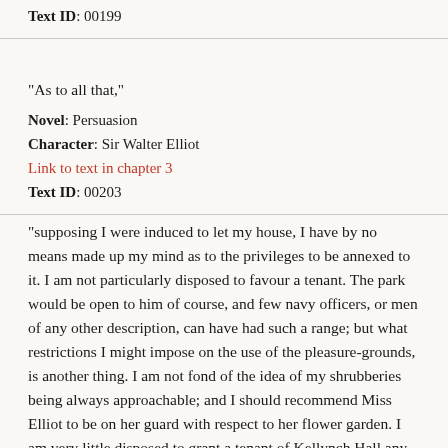Text ID: 00199
"As to all that,"
Novel: Persuasion
Character: Sir Walter Elliot
Link to text in chapter 3
Text ID: 00203
"supposing I were induced to let my house, I have by no means made up my mind as to the privileges to be annexed to it. I am not particularly disposed to favour a tenant. The park would be open to him of course, and few navy officers, or men of any other description, can have had such a range; but what restrictions I might impose on the use of the pleasure-grounds, is another thing. I am not fond of the idea of my shrubberies being always approachable; and I should recommend Miss Elliot to be on her guard with respect to her flower garden. I am very little disposed to grant a tenant of Kellynch Hall any extraordinary favour, I assure you, be he sailor or soldier."
Novel: Persuasion
Character: Sir Walter Elliot